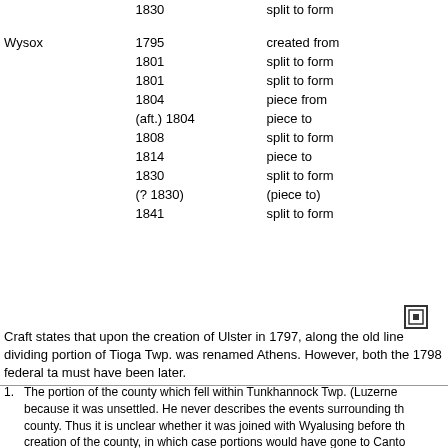| Township | Year | Event |
| --- | --- | --- |
|  | 1830 | split to form |
| Wysox | 1795 | created from |
|  | 1801 | split to form |
|  | 1801 | split to form |
|  | 1804 | piece from |
|  | (aft.) 1804 | piece to |
|  | 1808 | split to form |
|  | 1814 | piece to |
|  | 1830 | split to form |
|  | (? 1830) | (piece to) |
|  | 1841 | split to form |
[Figure (other): Small square icon/symbol]
Craft states that upon the creation of Ulster in 1797, along the old line dividing portion of Tioga Twp. was renamed Athens. However, both the 1798 federal ta must have been later.
1. The portion of the county which fell within Tunkhannock Twp. (Luzerne because it was unsettled. He never describes the events surrounding th county. Thus it is unclear whether it was joined with Wyalusing before th creation of the county, in which case portions would have gone to Canto